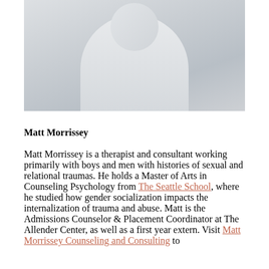[Figure (photo): Portrait photo of Matt Morrissey, a person wearing a light-colored turtleneck sweater, photographed from torso up against a light background.]
Matt Morrissey
Matt Morrissey is a therapist and consultant working primarily with boys and men with histories of sexual and relational traumas. He holds a Master of Arts in Counseling Psychology from The Seattle School, where he studied how gender socialization impacts the internalization of trauma and abuse. Matt is the Admissions Counselor & Placement Coordinator at The Allender Center, as well as a first year extern. Visit Matt Morrissey Counseling and Consulting to